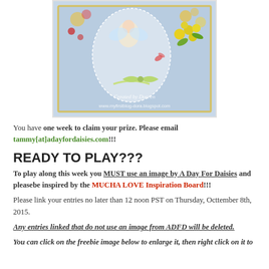[Figure (photo): Handmade greeting card with floral design, fairy illustration, doily lace, yellow flowers, ribbon bow, watermark 'Created by Doreen' and website www.myfirstblog-dora.blogspot.com]
You have one week to claim your prize. Please email tammy[at]adayfordaisies.com!!!
READY TO PLAY???
To play along this week you MUST use an image by A Day For Daisies and pleasebe inspired by the MUCHA LOVE Inspiration Board!!!
Please link your entries no later than 12 noon PST on Thursday, Octtember 8th, 2015.
Any entries linked that do not use an image from ADFD will be deleted.
You can click on the freebie image below to enlarge it, then right click on it to